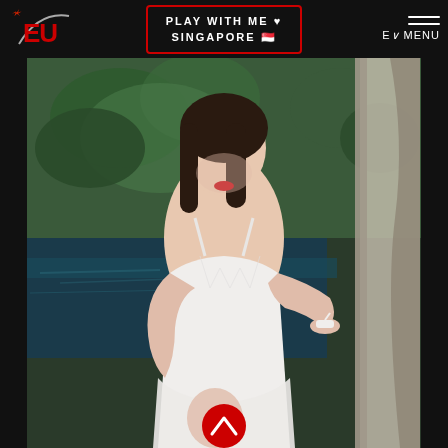[Figure (logo): Red and white stylized 'EU' logo with swoosh, on dark background]
PLAY WITH ME ♥ SINGAPORE 🇸🇬
E∨ MENU
[Figure (photo): Young Asian woman in white lace slip dress, posed outdoors near a pool with green foliage background, touching her wrist strap]